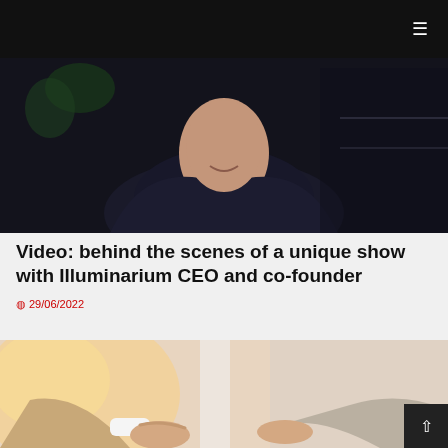≡
[Figure (photo): A man in a dark jacket and turtleneck speaking, photographed from the torso up against a dark background with some indoor greenery visible.]
Video: behind the scenes of a unique show with Illuminarium CEO and co-founder
29/06/2022
[Figure (photo): Two people shaking hands in a bright office setting, photographed from the forearms down. One person wears a beige jacket and white shirt.]